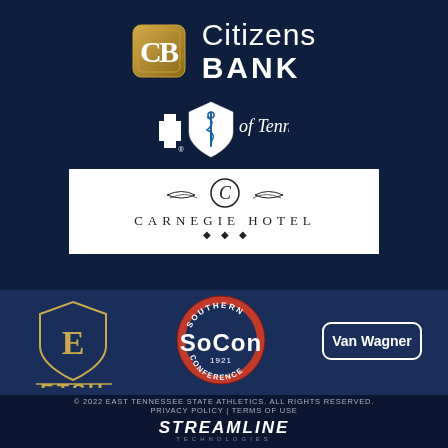[Figure (logo): Citizens Bank logo with CB emblem and text]
[Figure (logo): Blue Cross Blue Shield of Tennessee logo]
[Figure (logo): Carnegie Hotel logo with ornate C emblem]
[Figure (logo): ETSU (East Tennessee State University) logo]
[Figure (logo): SoCon (Southern Conference 1921) badge logo]
[Figure (logo): Van Wagner logo in rounded rectangle]
© 2022 EAST TENNESSEE STATE ATHLETICS. ALL RIGHTS RESERVED. PRIVACY POLICY | TERMS OF USE
[Figure (logo): Streamline Technologies logo in italic white text]